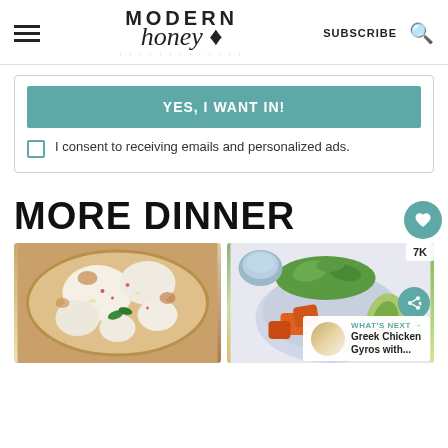Modern Honey — SUBSCRIBE
YES, I WANT IN!
I consent to receiving emails and personalized ads.
MORE DINNER
[Figure (photo): Close-up of a burrata or white cheese pizza with basil, olive oil drizzle, and red chili flakes on flatbread]
[Figure (photo): Healthy grain bowl with greens, roasted sweet potatoes, avocado, and cucumbers with a sauce in a bowl]
WHAT'S NEXT → Greek Chicken Gyros with...